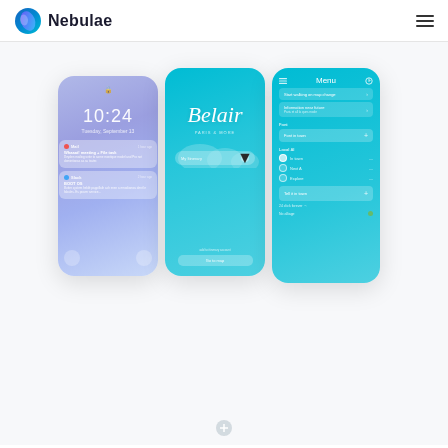[Figure (logo): Nebulae app logo: blue/teal spherical icon and wordmark 'Nebulae']
[Figure (screenshot): Three mobile app screenshots showing: (1) iOS lock screen with time 10:24 and notifications, (2) Belair app splash screen with cyan gradient background, (3) Belair app menu screen with cyan gradient background]